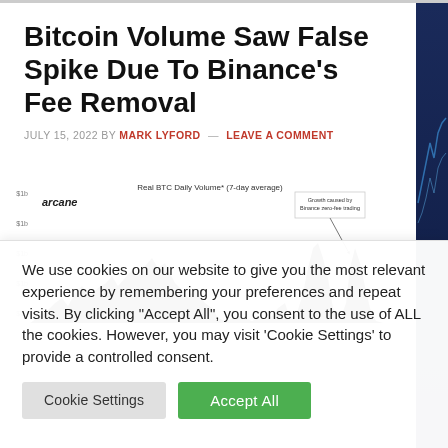Bitcoin Volume Saw False Spike Due To Binance's Fee Removal
JULY 15, 2022 BY MARK LYFORD — LEAVE A COMMENT
[Figure (continuous-plot): Real BTC Daily Volume* (7-day average) area/line chart showing volume spikes over time, with annotation for 'Growth caused by Binance zero-fee trading' pointing to a spike on the right side. Branded with 'arcane' logo.]
We use cookies on our website to give you the most relevant experience by remembering your preferences and repeat visits. By clicking "Accept All", you consent to the use of ALL the cookies. However, you may visit 'Cookie Settings' to provide a controlled consent.